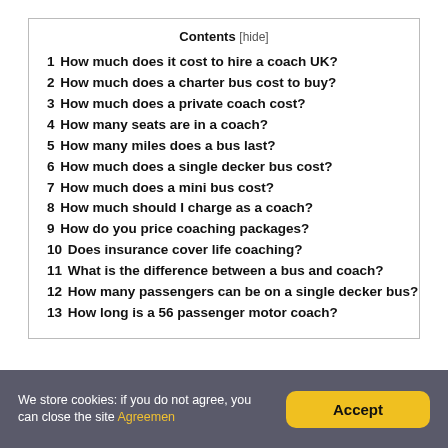Contents [hide]
1 How much does it cost to hire a coach UK?
2 How much does a charter bus cost to buy?
3 How much does a private coach cost?
4 How many seats are in a coach?
5 How many miles does a bus last?
6 How much does a single decker bus cost?
7 How much does a mini bus cost?
8 How much should I charge as a coach?
9 How do you price coaching packages?
10 Does insurance cover life coaching?
11 What is the difference between a bus and coach?
12 How many passengers can be on a single decker bus?
13 How long is a 56 passenger motor coach?
We store cookies: if you do not agree, you can close the site Agreemen